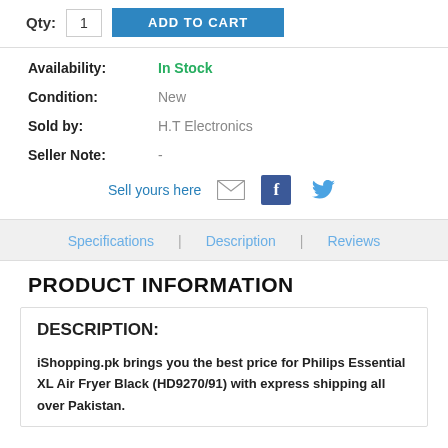Qty: 1  ADD TO CART
Availability: In Stock
Condition: New
Sold by: H.T Electronics
Seller Note: -
Sell yours here
Specifications | Description | Reviews
PRODUCT INFORMATION
DESCRIPTION:
iShopping.pk brings you the best price for Philips Essential XL Air Fryer Black (HD9270/91) with express shipping all over Pakistan.